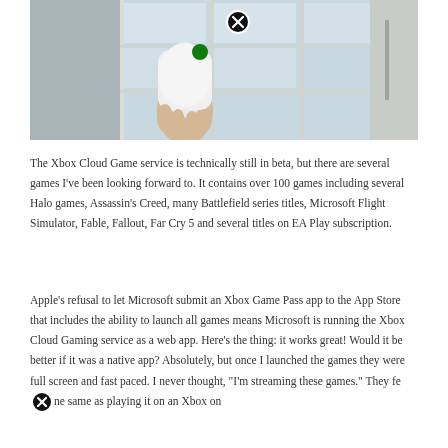[Figure (photo): A hand holding a white Xbox controller held up near a window with grid-pane glass, outdoor scenery visible, a close/dismiss button (X in circle) overlaid near top center of the image.]
The Xbox Cloud Game service is technically still in beta, but there are several games I've been looking forward to. It contains over 100 games including several Halo games, Assassin's Creed, many Battlefield series titles, Microsoft Flight Simulator, Fable, Fallout, Far Cry 5 and several titles on EA Play subscription.
Apple's refusal to let Microsoft submit an Xbox Game Pass app to the App Store that includes the ability to launch all games means Microsoft is running the Xbox Cloud Gaming service as a web app. Here's the thing: it works great! Would it be better if it was a native app? Absolutely, but once I launched the games they were full screen and fast paced. I never thought, "I'm streaming these games." They feel the same as playing it on an Xbox on